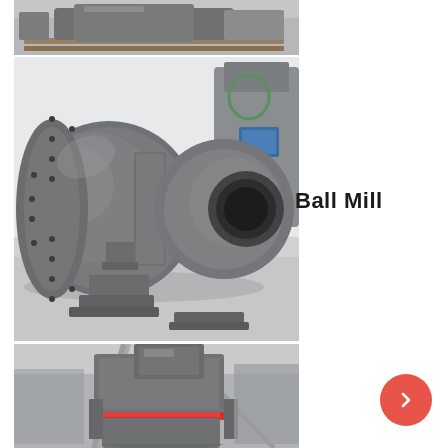[Figure (photo): Industrial machinery/equipment on pallet in workshop, top portion cropped]
[Figure (photo): Close-up of a large gray industrial ball mill showing cylindrical drum body with flanged ends, bolted flange on left side, round discharge opening on right, mounted on support base in a workshop]
Ball Mill
[Figure (photo): Bottom portion of industrial grinding mill equipment showing dark gray cylindrical housing with red accent band, captured from below/side angle]